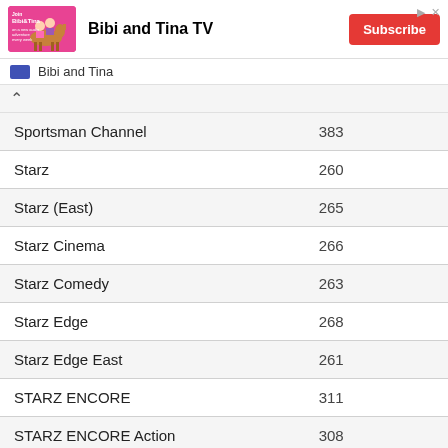[Figure (screenshot): Advertisement banner for Bibi and Tina TV showing a pink illustrated image with characters on horseback, channel title 'Bibi and Tina TV', and a red Subscribe button]
Bibi and Tina
| Channel | Number |
| --- | --- |
| Sportsman Channel | 383 |
| Starz | 260 |
| Starz (East) | 265 |
| Starz Cinema | 266 |
| Starz Comedy | 263 |
| Starz Edge | 268 |
| Starz Edge East | 261 |
| STARZ ENCORE | 311 |
| STARZ ENCORE Action | 308 |